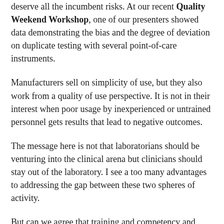deserve all the incumbent risks.  At our recent Quality Weekend Workshop, one of our presenters showed data demonstrating the bias and the degree of deviation on duplicate testing with several point-of-care instruments.
Manufacturers sell on simplicity of use, but they also work from a quality of use perspective.  It is not in their interest when poor usage by inexperienced or untrained personnel gets results that lead to negative outcomes.
The message here is not that laboratorians should be venturing into the clinical arena but clinicians should stay out of the laboratory.  I see a too many advantages to addressing the gap between these two spheres of activity.
But can we agree that training and competency and commitment to Quality have to not only be a part of the process, they have to be the process.